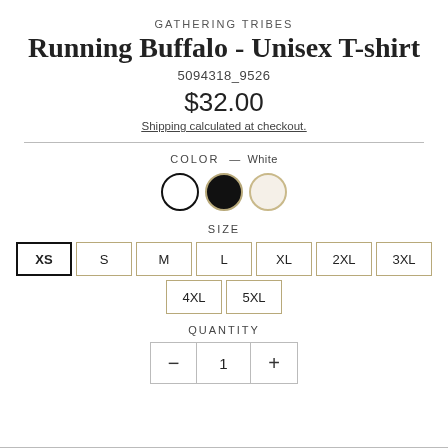GATHERING TRIBES
Running Buffalo - Unisex T-shirt
5094318_9526
$32.00
Shipping calculated at checkout.
[Figure (other): Three color swatch circles: white (selected, black border), black (gold border), cream/beige (gold border). Label reads COLOR — White]
[Figure (other): Size selection buttons in a grid: XS (selected, bold black border), S, M, L, XL, 2XL, 3XL in first row; 4XL, 5XL in second row. Label reads SIZE]
[Figure (other): Quantity control with minus button, value 1, and plus button. Label reads QUANTITY]